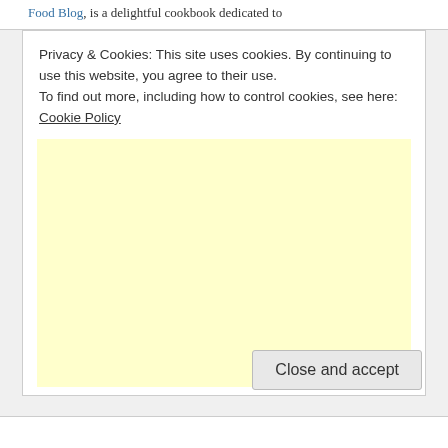Food Blog, is a delightful cookbook dedicated to
Privacy & Cookies: This site uses cookies. By continuing to use this website, you agree to their use.
To find out more, including how to control cookies, see here: Cookie Policy
[Figure (other): Advertisement placeholder — large pale yellow rectangle]
Close and accept